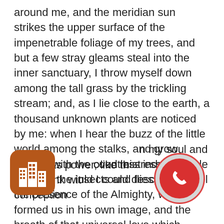around me, and the meridian sun strikes the upper surface of the impenetrable foliage of my trees, and but a few stray gleams steal into the inner sanctuary, I throw myself down among the tall grass by the trickling stream; and, as I lie close to the earth, a thousand unknown plants are noticed by me: when I hear the buzz of the little world among the stalks, and grow familiar with the countless indescribable forms of the insects and flies, then I feel the presence of the Almighty, who formed us in his own image, and the breath of that universal love which bears and sustains us, as it floats around us in an eternity of bliss; and then, my friend, when darkness overspreads my eyes, and heaven and earth seem to dwell in my soul and absorb its power, like the form of a beloved mistress, then I often think with longing, Oh! would I could describe these conceptions, could impress upon paper all that is living so full and warm within me, that it might be the mirror of my soul, as
[Figure (illustration): Brown rounded-square app icon with white city/building skyline silhouette]
[Figure (illustration): Red circular phone/call button icon with white telephone handset, surrounded by a light gray circle with pink/red border]